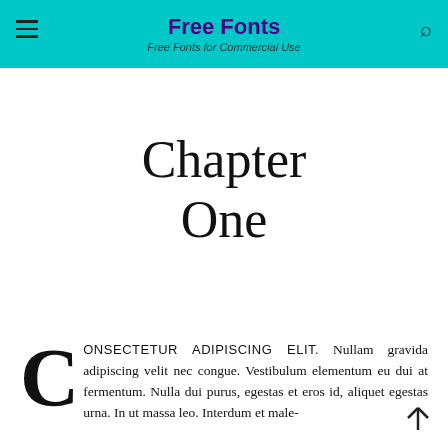Free Fonts
Free Fonts for Commercial Use
Chapter One
CONSECTETUR ADIPISCING ELIT. Nullam gravida adipiscing velit nec congue. Vestibulum elementum eu dui at fermentum. Nulla dui purus, egestas et eros id, aliquet egestas urna. In ut massa leo. Interdum et male-